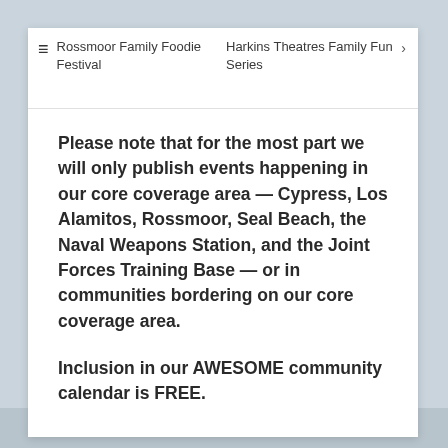≡  Rossmoor Family Foodie Festival    Harkins Theatres Family Fun Series ›
Please note that for the most part we will only publish events happening in our core coverage area — Cypress, Los Alamitos, Rossmoor, Seal Beach, the Naval Weapons Station, and the Joint Forces Training Base — or in communities bordering on our core coverage area.
Inclusion in our AWESOME community calendar is FREE.